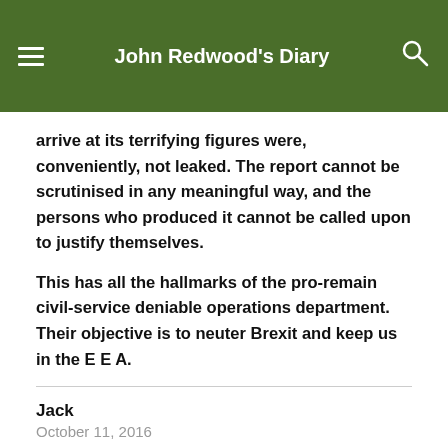John Redwood's Diary
arrive at its terrifying figures were, conveniently, not leaked. The report cannot be scrutinised in any meaningful way, and the persons who produced it cannot be called upon to justify themselves.
This has all the hallmarks of the pro-remain civil-service deniable operations department. Their objective is to neuter Brexit and keep us in the E E A.
Jack
October 11, 2016
As the budget deficit continues to be way too small, we will be consigned to low growth and stagnation. This will further fuel resentment among both remainers and brexiteers.